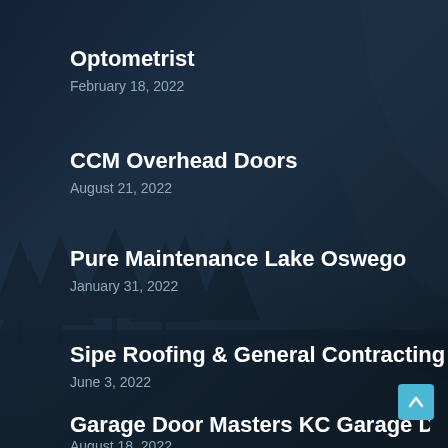Optometrist
February 18, 2022
CCM Overhead Doors
August 21, 2022
Pure Maintenance Lake Oswego
January 31, 2022
Sipe Roofing & General Contracting
June 3, 2022
Garage Door Masters KC Garage Door Repair
August 18, 2022